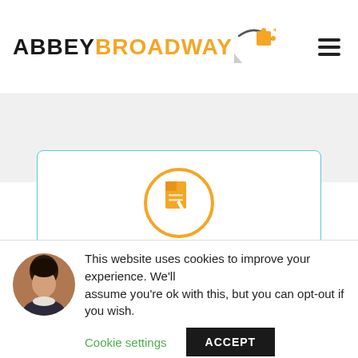[Figure (logo): Abbey Broadway logo with orange puzzle piece icon and black/orange text]
[Figure (illustration): Gray downward chevron/arrow below logo]
[Figure (illustration): Orange circle with document/sign icon inside a white card with teal border]
SIGN & REGISTER
This website uses cookies to improve your experience. We'll assume you're ok with this, but you can opt-out if you wish.
Cookie settings
ACCEPT